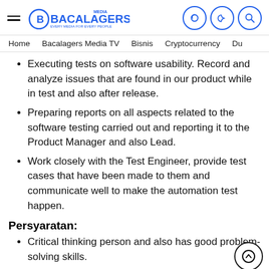Bacalagers Media
Home   Bacalagers Media TV   Bisnis   Cryptocurrency   Du
Executing tests on software usability. Record and analyze issues that are found in our product while in test and also after release.
Preparing reports on all aspects related to the software testing carried out and reporting it to the Product Manager and also Lead.
Work closely with the Test Engineer, provide test cases that have been made to them and communicate well to make the automation test happen.
Persyaratan:
Critical thinking person and also has good problem-solving skills.